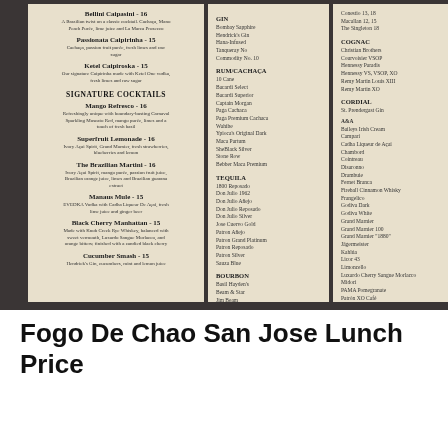[Figure (photo): A photograph of a restaurant drink menu (Fogo De Chao) showing two open menu panels side by side. Left panel shows cocktail listings including Signature Cocktails section with items like Mango Refresco, Superfruit Lemonade, The Brazilian Martini, Manaus Mule, Black Cherry Manhattan, and Cucumber Smash. Right panels show spirits categories including Gin, Rum/Cachaca, Tequila, Bourbon, Cognac, Cordial, and various brand listings.]
Fogo De Chao San Jose Lunch Price